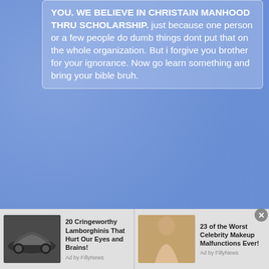YOU. WE BELIEVE IN CHRISTAIN MANHOOD THRU SCHOLARSHIP. just because one person or a few people do dumb things dont put that on the whole organization. But i forgive you brother for your ignorance. Now go learn something and bring your bible bruh.
al da que
as a proud member of Omega Psi Phi " til the day i die", hence you are still one of us whether you like it or not, or you just told a bold face lie to GOD the day you joined.
[Figure (screenshot): Ad bar at bottom of page showing two sponsored content items: '20 Cringeworthy Lamborghinis That Hurt Our Eyes and Brains!' with car image, and '23 of the Worst Celebrity Makeup Malfunctions Ever!' with celebrity image. Both labeled 'Ad by FillyNews'. Close button visible.]